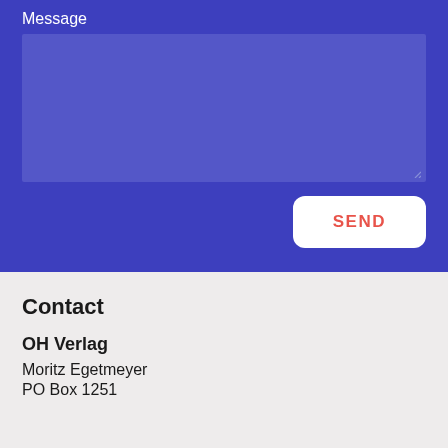Message
[Figure (screenshot): Message text area input box with blue/purple background]
[Figure (screenshot): SEND button, white rounded rectangle with red SEND text]
Contact
OH Verlag
Moritz Egetmeyer
PO Box 1251